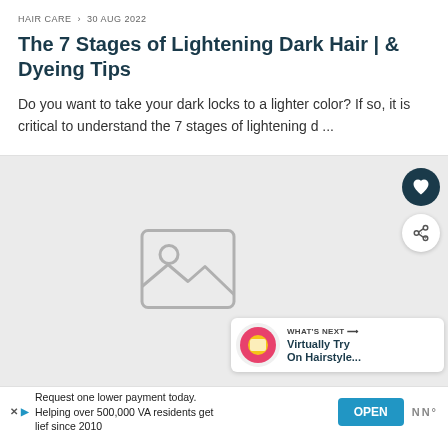HAIR CARE  >  30 AUG 2022
The 7 Stages of Lightening Dark Hair | & Dyeing Tips
Do you want to take your dark locks to a lighter color? If so, it is critical to understand the 7 stages of lightening d ...
[Figure (photo): Placeholder image area with broken image icon; heart (favorite) button and share button overlaid top-right; 'WHAT'S NEXT' banner bottom-right showing 'Virtually Try On Hairstyle...']
Request one lower payment today. Helping over 500,000 VA residents get lief since 2010